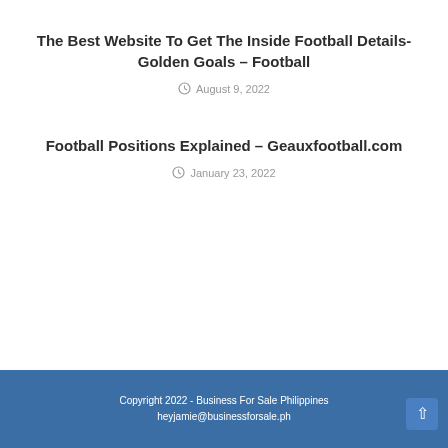The Best Website To Get The Inside Football Details- Golden Goals – Football
August 9, 2022
Football Positions Explained – Geauxfootball.com
January 23, 2022
Copyright 2022 - Business For Sale Philippines
heyjamie@businessforsale.ph